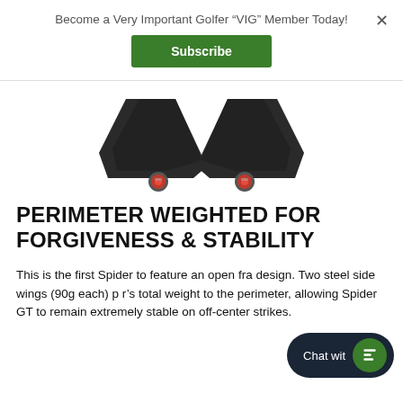Become a Very Important Golfer “VIG” Member Today!
Subscribe
[Figure (photo): Two side wings of a Spider GT putter shown from below, with red weight screws visible at the tips, against a white background.]
PERIMETER WEIGHTED FOR FORGIVENESS & STABILITY
This is the first Spider to feature an open fra design. Two steel side wings (90g each) p r’s total weight to the perimeter, allowing Spider GT to remain extremely stable on off-center strikes.